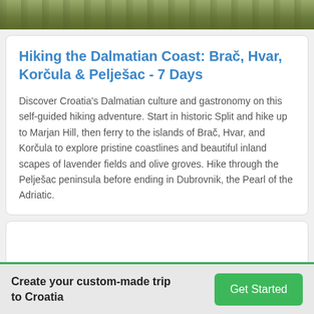[Figure (photo): Landscape photo strip at top showing coastal vegetation and hillside scenery]
Hiking the Dalmatian Coast: Brač, Hvar, Korčula & Pelješac - 7 Days
Discover Croatia's Dalmatian culture and gastronomy on this self-guided hiking adventure. Start in historic Split and hike up to Marjan Hill, then ferry to the islands of Brač, Hvar, and Korčula to explore pristine coastlines and beautiful inland scapes of lavender fields and olive groves. Hike through the Pelješac peninsula before ending in Dubrovnik, the Pearl of the Adriatic.
[Figure (photo): Large photo area (partially visible/blank) in second card]
Create your custom-made trip to Croatia
Get Started